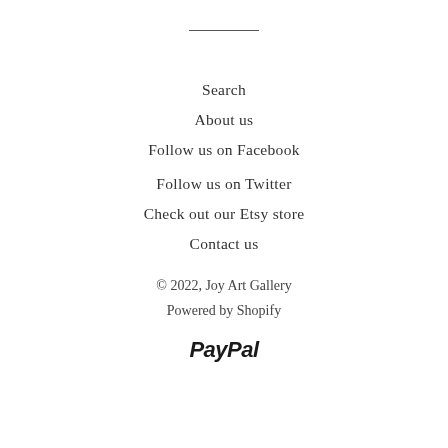Search
About us
Follow us on Facebook
Follow us on Twitter
Check out our Etsy store
Contact us
© 2022, Joy Art Gallery
Powered by Shopify
[Figure (logo): PayPal logo in bold italic text]